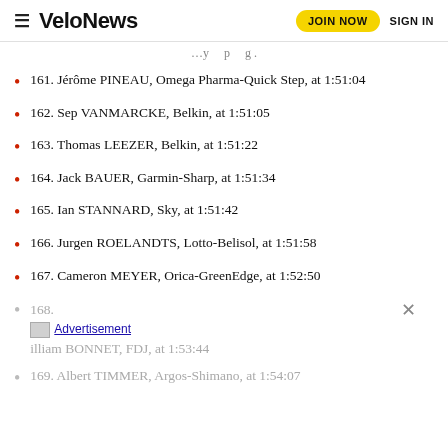VeloNews  JOIN NOW  SIGN IN
…y p g
161. Jérôme PINEAU, Omega Pharma-Quick Step, at 1:51:04
162. Sep VANMARCKE, Belkin, at 1:51:05
163. Thomas LEEZER, Belkin, at 1:51:22
164. Jack BAUER, Garmin-Sharp, at 1:51:34
165. Ian STANNARD, Sky, at 1:51:42
166. Jurgen ROELANDTS, Lotto-Belisol, at 1:51:58
167. Cameron MEYER, Orica-GreenEdge, at 1:52:50
168. …illiam BONNET, FDJ, at 1:53:44
169. Albert TIMMER, Argos-Shimano, at 1:54:07